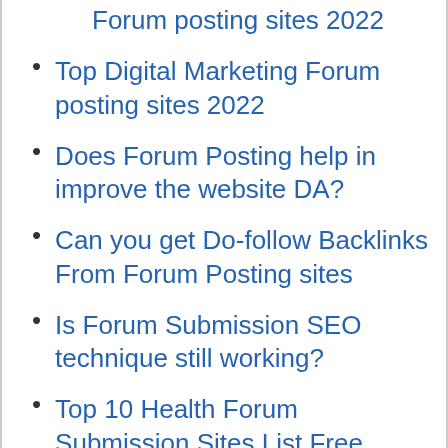Forum posting sites 2022
Top Digital Marketing Forum posting sites 2022
Does Forum Posting help in improve the website DA?
Can you get Do-follow Backlinks From Forum Posting sites
Is Forum Submission SEO technique still working?
Top 10 Health Forum Submission Sites List Free
Education Forum Posting Sites